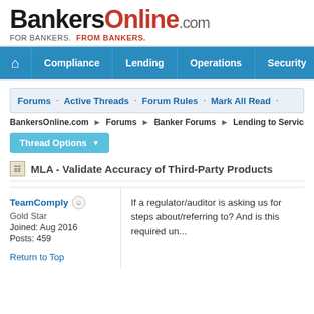[Figure (logo): BankersOnline.com logo with tagline FOR BANKERS. FROM BANKERS.]
Compliance · Lending · Operations · Security
Forums · Active Threads · Forum Rules · Mark All Read
BankersOnline.com > Forums > Banker Forums > Lending to Servicemembers (SCR...
Thread Options
MLA - Validate Accuracy of Third-Party Products
TeamComply
Gold Star
Joined: Aug 2016
Posts: 459
If a regulator/auditor is asking us for steps about/referring to? And is this required un...
Return to Top